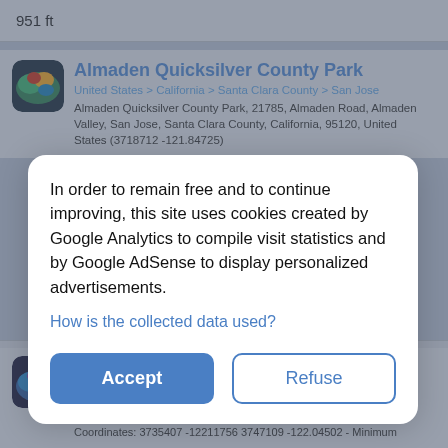951 ft
Almaden Quicksilver County Park
United States > California > Santa Clara County > San Jose
Almaden Quicksilver County Park, 21785, Almaden Road, Almaden Valley, San Jose, Santa Clara County, California, 95120, United States (3718712 -121.84725)
In order to remain free and to continue improving, this site uses cookies created by Google Analytics to compile visit statistics and by Google AdSense to display personalized advertisements.
How is the collected data used?
Accept
Refuse
Mountain View
United States > California > Santa Clara County > Mountain View
Mountain View, Santa Clara County, California, United States (3738939 -122.08321)
Coordinates: 3735407 -12211756 3747109 -122.04502 - Minimum